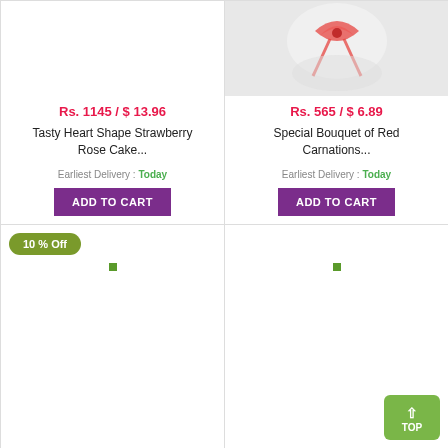Rs. 1145 / $ 13.96
Tasty Heart Shape Strawberry Rose Cake...
Earliest Delivery : Today
ADD TO CART
[Figure (photo): Bouquet with red carnations and ribbon on white background]
Rs. 565 / $ 6.89
Special Bouquet of Red Carnations...
Earliest Delivery : Today
ADD TO CART
10 % Off
[Figure (photo): Product image loading placeholder]
[Figure (photo): Product image loading placeholder]
TOP